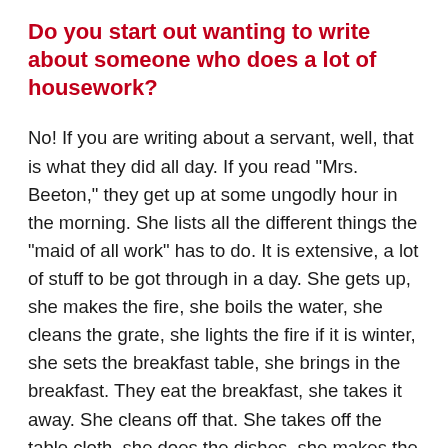Do you start out wanting to write about someone who does a lot of housework?
No! If you are writing about a servant, well, that is what they did all day. If you read "Mrs. Beeton," they get up at some ungodly hour in the morning. She lists all the different things the "maid of all work" has to do. It is extensive, a lot of stuff to be got through in a day. She gets up, she makes the fire, she boils the water, she cleans the grate, she lights the fire if it is winter, she sets the breakfast table, she brings in the breakfast. They eat the breakfast, she takes it away. She cleans off that. She takes off the table cloth, she does the dishes, she makes the lunch, she sets the lunch, she takes the dishes away, she washes the dishes, in addition to making the bread and making this and that